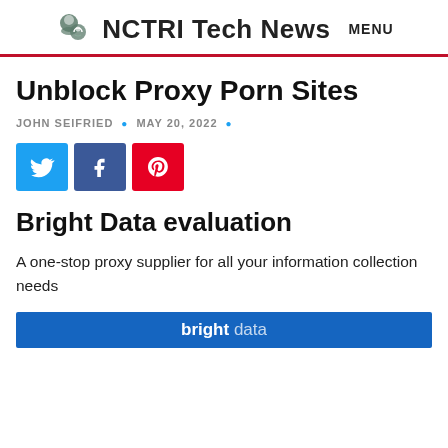NCTRI Tech News  MENU
Unblock Proxy Porn Sites
JOHN SEIFRIED  •  MAY 20, 2022  •
[Figure (other): Social share buttons: Twitter (blue), Facebook (dark blue), Pinterest (red)]
Bright Data evaluation
A one-stop proxy supplier for all your information collection needs
[Figure (other): Bright Data banner — bright data logo in white text on blue background]